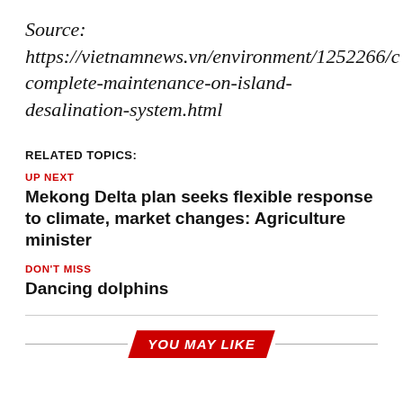Source: https://vietnamnews.vn/environment/1252266/complete-maintenance-on-island-desalination-system.html
RELATED TOPICS:
UP NEXT
Mekong Delta plan seeks flexible response to climate, market changes: Agriculture minister
DON'T MISS
Dancing dolphins
YOU MAY LIKE